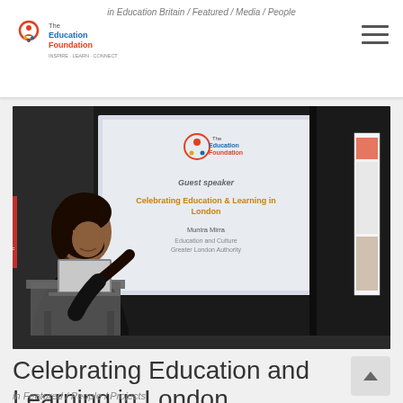in Education Britain / Featured / Media / People
[Figure (photo): A woman speaker standing at a podium with a laptop, presenting in front of a projected slide from The Education Foundation. The slide shows 'Guest speaker - Celebrating Education & Learning in London' with the name Munira Mirra, Education and Culture, Greater London Authority.]
Celebrating Education and Learning in London
in Featured / People / Projects